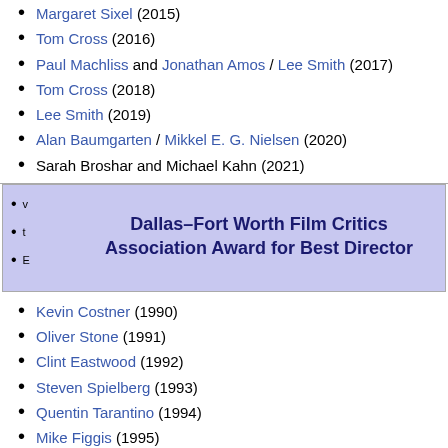Margaret Sixel (2015)
Tom Cross (2016)
Paul Machliss and Jonathan Amos / Lee Smith (2017)
Tom Cross (2018)
Lee Smith (2019)
Alan Baumgarten / Mikkel E. G. Nielsen (2020)
Sarah Broshar and Michael Kahn (2021)
Dallas–Fort Worth Film Critics Association Award for Best Director
v
t
e
Kevin Costner (1990)
Oliver Stone (1991)
Clint Eastwood (1992)
Steven Spielberg (1993)
Quentin Tarantino (1994)
Mike Figgis (1995)